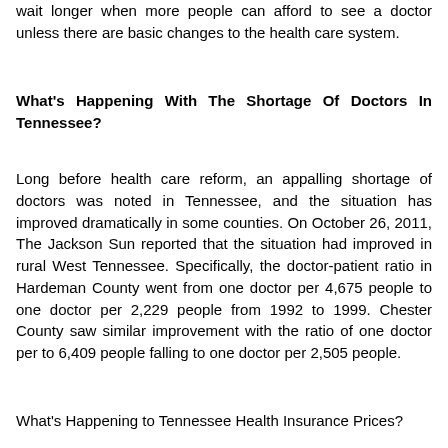wait longer when more people can afford to see a doctor unless there are basic changes to the health care system.
What's Happening With The Shortage Of Doctors In Tennessee?
Long before health care reform, an appalling shortage of doctors was noted in Tennessee, and the situation has improved dramatically in some counties. On October 26, 2011, The Jackson Sun reported that the situation had improved in rural West Tennessee. Specifically, the doctor-patient ratio in Hardeman County went from one doctor per 4,675 people to one doctor per 2,229 people from 1992 to 1999. Chester County saw similar improvement with the ratio of one doctor per to 6,409 people falling to one doctor per 2,505 people.
What's Happening to Tennessee Health Insurance Prices?